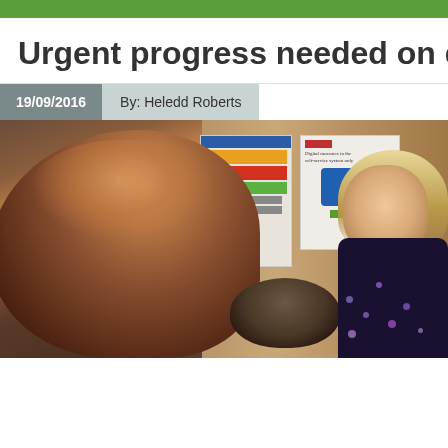Urgent progress needed on doct
19/09/2016   By: Heledd Roberts
[Figure (photo): People in what appears to be a medical waiting room or clinic, with health information posters on the wall behind them. A red-haired woman is in the foreground on the left, a person in the middle, and a blonde woman on the right wearing a dark floral top.]